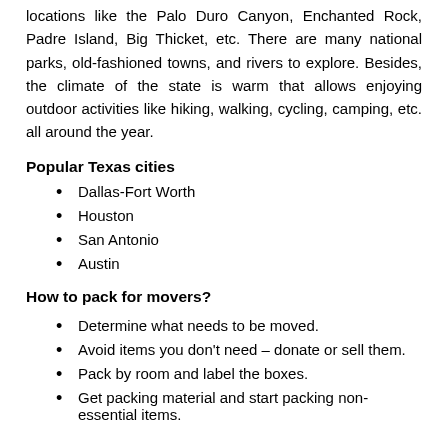locations like the Palo Duro Canyon, Enchanted Rock, Padre Island, Big Thicket, etc. There are many national parks, old-fashioned towns, and rivers to explore. Besides, the climate of the state is warm that allows enjoying outdoor activities like hiking, walking, cycling, camping, etc. all around the year.
Popular Texas cities
Dallas-Fort Worth
Houston
San Antonio
Austin
How to pack for movers?
Determine what needs to be moved.
Avoid items you don't need – donate or sell them.
Pack by room and label the boxes.
Get packing material and start packing non-essential items.